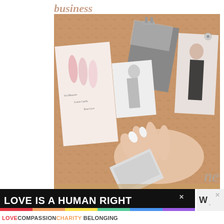business
[Figure (photo): A hand pinning photos and color swatches to a cork bulletin board. The board shows pastel pink nail color samples, black and white fashion photos, a dark gray card held by a binder clip, and a photo of a woman in a black dress pinned to the right side. The hand has white nail polish and is arranging a small black-and-white photo clipping. A paper with 'news' text in italic is visible at the bottom.]
[Figure (infographic): Pride advertisement banner with black background. Bold white text reads 'LOVE IS A HUMAN RIGHT' with a rainbow gradient bar. Below in smaller text: 'LOVE' in red, 'COMPASSION' in dark, 'CHARITY' in orange, 'BELONGING' in dark. Close/X button and W logo on the right.]